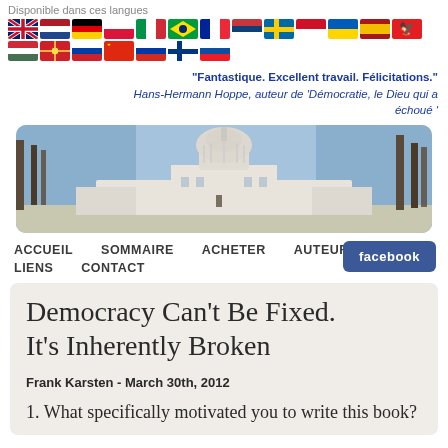Disponible dans ces langues
[Figure (illustration): Row of country flag icons for language selection: UK, Netherlands, Germany, Poland, Italy, Brazil, France, Serbia, Sweden, Indonesia, Ukraine, Spain, Albania, Hungary, Macedonia, Slovenia, China, Russia, Finland, Slovakia]
"Fantastique. Excellent travail. Félicitations." Hans-Hermann Hoppe, auteur de 'Démocratie, le Dieu qui a échoué '
[Figure (photo): Banner photo of the US Capitol building with trees in winter against a blue sky]
ACCUEIL   SOMMAIRE   ACHETER   AUTEURS   LIENS   CONTACT   facebook
Democracy Can't Be Fixed. It's Inherently Broken
Frank Karsten - March 30th, 2012
1. What specifically motivated you to write this book?